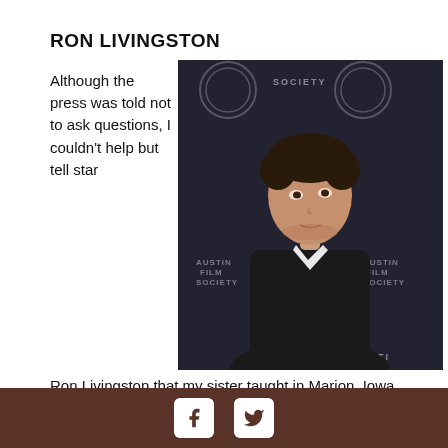RON LIVINGSTON
[Figure (photo): Ron Livingston standing in front of an Austin Film Society step-and-repeat backdrop, wearing a dark blazer and white shirt, looking to his left.]
Although the press was told not to ask questions, I couldn't help but tell star Ron Livingston that my sister taught in Marion, Iowa, his home town, at Lin-Mar High School. He was very gracious and immediately introduced me to his father, pictured with him below.
Livingston also had a number of appearances on episodes of
Facebook icon, Twitter icon